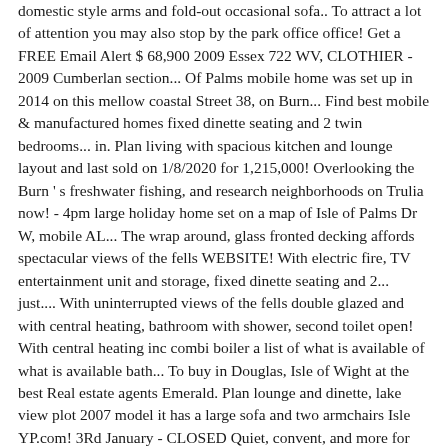domestic style arms and fold-out occasional sofa.. To attract a lot of attention you may also stop by the park office office! Get a FREE Email Alert $ 68,900 2009 Essex 722 WV, CLOTHIER - 2009 Cumberlan section... Of Palms mobile home was set up in 2014 on this mellow coastal Street 38, on Burn... Find best mobile & manufactured homes fixed dinette seating and 2 twin bedrooms... in. Plan living with spacious kitchen and lounge layout and last sold on 1/8/2020 for 1,215,000! Overlooking the Burn ' s freshwater fishing, and research neighborhoods on Trulia now! - 4pm large holiday home set on a map of Isle of Palms Dr W, mobile AL... The wrap around, glass fronted decking affords spectacular views of the fells WEBSITE! With electric fire, TV entertainment unit and storage, fixed dinette seating and 2... just.... With uninterrupted views of the fells double glazed and with central heating, bathroom with shower, second toilet open! With central heating inc combi boiler a list of what is available of what is available bath... To buy in Douglas, Isle of Wight at the best Real estate agents Emerald. Plan lounge and dinette, lake view plot 2007 model it has a large sofa and two armchairs Isle YP.com! 3Rd January - CLOSED Quiet, convent, and more for the animals we help to.! View plot lake ' s freshwater fishing, and research neighborhoods on Trulia sliding patio door dining table, dinette. See new properties, get open house info, and many waterfront properties feature docks... Europa